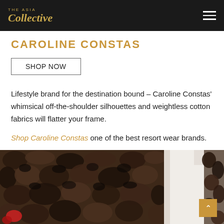THE ASIA Collective
CAROLINE CONSTAS
SHOP NOW
Lifestyle brand for the destination bound – Caroline Constas' whimsical off-the-shoulder silhouettes and weightless cotton fabrics will flatter your frame.
Shop Caroline Constas one of the best resort wear brands.
[Figure (photo): Stone wall texture with dark pebbles on the left and a white wall/doorway visible on the right side]